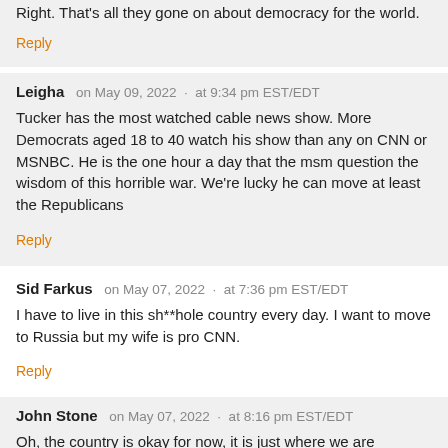Right. That's all they gone on about democracy for the world.
Reply
Leigha   on May 09, 2022  ·  at 9:34 pm EST/EDT
Tucker has the most watched cable news show. More Democrats aged 18 to 40 watch his show than any on CNN or MSNBC. He is the one hour a day that the msm question the wisdom of this horrible war. We're lucky he can move at least the Republicans
Reply
Sid Farkus   on May 07, 2022  ·  at 7:36 pm EST/EDT
I have to live in this sh**hole country every day. I want to move to Russia but my wife is pro CNN.
Reply
John Stone   on May 07, 2022  ·  at 8:16 pm EST/EDT
Oh, the country is okay for now, it is just where we are headed. The prospects of a nuclear exchange just keep getting better. War between us and Russia serves the interests of both countries